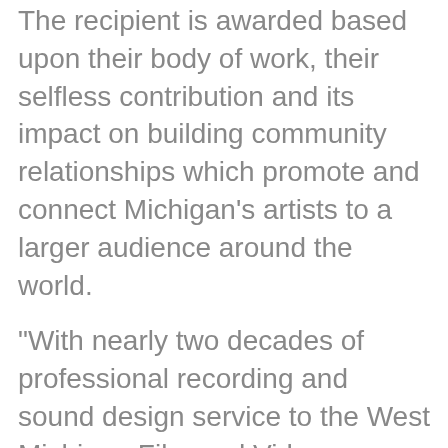The recipient is awarded based upon their body of work, their selfless contribution and its impact on building community relationships which promote and connect Michigan's artists to a larger audience around the world.
“With nearly two decades of professional recording and sound design service to the West Michigan Film and Video community and abroad, Stuart Poltrock’s contributions to numerous productions are as admirable as they are outstanding,” said festival director Anthony Griffin.
“We are very fortunate to have his expertise and guidance here as a contributor and collaborator in telling